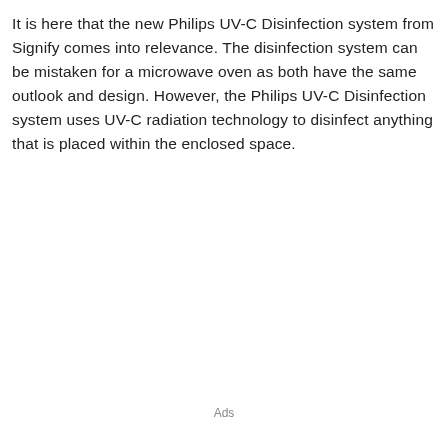It is here that the new Philips UV-C Disinfection system from Signify comes into relevance. The disinfection system can be mistaken for a microwave oven as both have the same outlook and design. However, the Philips UV-C Disinfection system uses UV-C radiation technology to disinfect anything that is placed within the enclosed space.
Ads